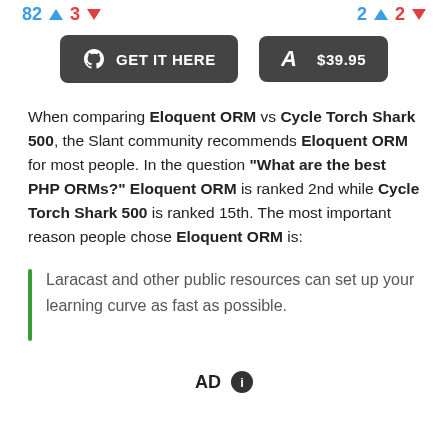[Figure (infographic): Top bar with vote counts: 82 upvotes (blue) and 3 downvotes (red) on left; 2 upvotes (blue) and 2 downvotes (red) on right]
[Figure (infographic): Two dark rounded buttons: 'GET IT HERE' with GitHub icon on left, '$39.95' with Amazon icon on right]
When comparing Eloquent ORM vs Cycle Torch Shark 500, the Slant community recommends Eloquent ORM for most people. In the question "What are the best PHP ORMs?" Eloquent ORM is ranked 2nd while Cycle Torch Shark 500 is ranked 15th. The most important reason people chose Eloquent ORM is:
Laracast and other public resources can set up your learning curve as fast as possible.
AD